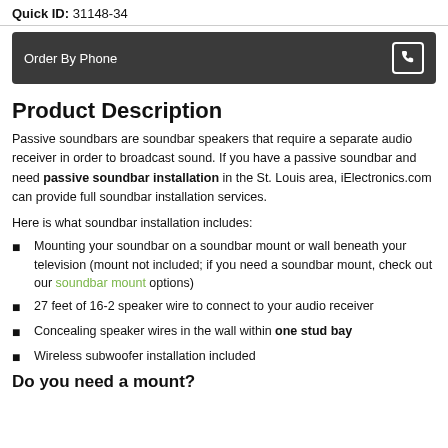Quick ID: 31148-34
Order By Phone
Product Description
Passive soundbars are soundbar speakers that require a separate audio receiver in order to broadcast sound. If you have a passive soundbar and need passive soundbar installation in the St. Louis area, iElectronics.com can provide full soundbar installation services.
Here is what soundbar installation includes:
Mounting your soundbar on a soundbar mount or wall beneath your television (mount not included; if you need a soundbar mount, check out our soundbar mount options)
27 feet of 16-2 speaker wire to connect to your audio receiver
Concealing speaker wires in the wall within one stud bay
Wireless subwoofer installation included
Do you need a mount?